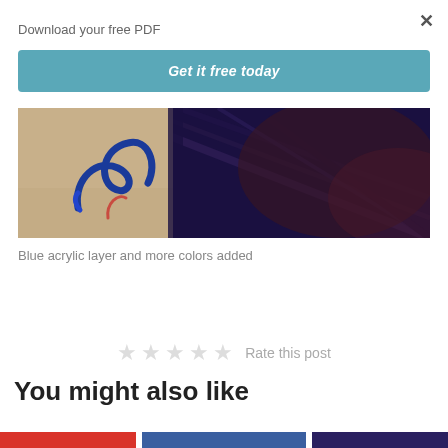×
Download your free PDF
Get it free today
[Figure (photo): Close-up photo of blue acrylic calligraphy or brushwork on a beige/tan background, overlapping with a dark navy/burgundy wooden surface with grain texture.]
Blue acrylic layer and more colors added
★★★★★ Rate this post
You might also like